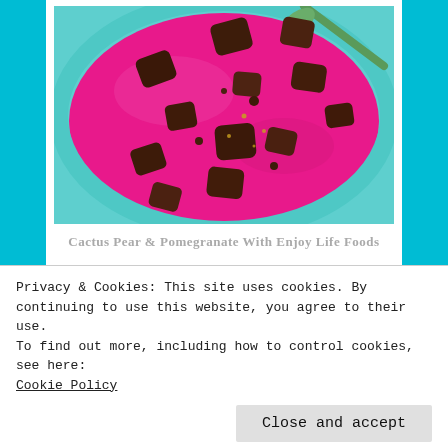[Figure (photo): A bright pink/magenta smoothie bowl in a turquoise bowl, topped with chunks of dark chocolate and a green spoon resting on the right side.]
Cactus Pear & Pomegranate With Enjoy Life Foods
Privacy & Cookies: This site uses cookies. By continuing to use this website, you agree to their use.
To find out more, including how to control cookies, see here: Cookie Policy
Close and accept
I do believe that you will love this hot-pink